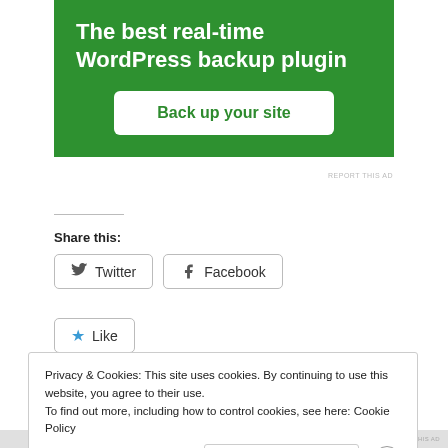[Figure (screenshot): Green advertisement banner for a WordPress backup plugin with white bold text and a white rounded button labeled 'Back up your site']
REPORT THIS AD
Share this:
Twitter   Facebook
Like
Privacy & Cookies: This site uses cookies. By continuing to use this website, you agree to their use.
To find out more, including how to control cookies, see here: Cookie Policy
Close and accept
REPORT THIS AD